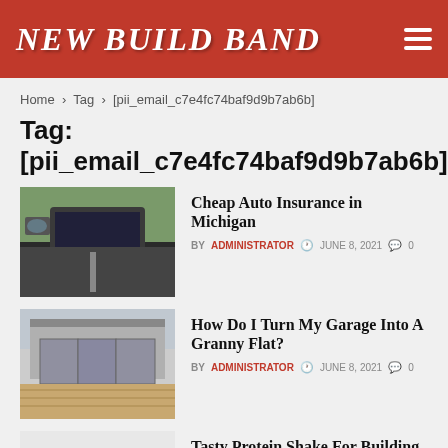NEW BUILD BAND
Home > Tag > [pii_email_c7e4fc74baf9d9b7ab6b]
Tag: [pii_email_c7e4fc74baf9d9b7ab6b]
[Figure (photo): Car dashboard interior view with road ahead]
Cheap Auto Insurance in Michigan
BY ADMINISTRATOR  JUNE 8, 2021  0
[Figure (photo): Modern garage conversion to living space with bifold doors]
How Do I Turn My Garage Into A Granny Flat?
BY ADMINISTRATOR  JUNE 8, 2021  0
[Figure (photo): Blank/empty protein shake article thumbnail]
Tasty Protein Shake For Building Muscles
BY ADMINISTRATOR  MAY 27, 2021  0
[Figure (photo): Dark themed gambling/casino image]
Enjoy Gambling With Sbobet Games